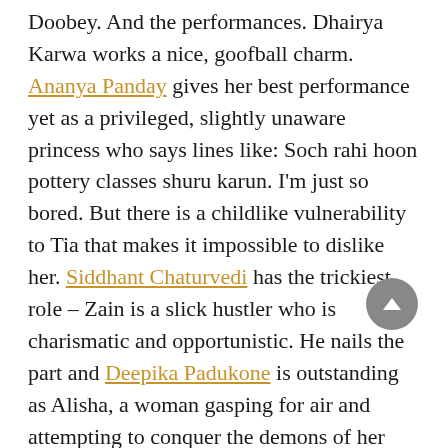Doobey. And the performances. Dhairya Karwa works a nice, goofball charm. Ananya Panday gives her best performance yet as a privileged, slightly unaware princess who says lines like: Soch rahi hoon pottery classes shuru karun. I'm just so bored. But there is a childlike vulnerability to Tia that makes it impossible to dislike her. Siddhant Chaturvedi has the trickiest role – Zain is a slick hustler who is charismatic and opportunistic. He nails the part and Deepika Padukone is outstanding as Alisha, a woman gasping for air and attempting to conquer the demons of her past. Shorn of make-up and her inherent star dazzle, she looks even more lovely. And the melancholy in her eyes is heartbreaking.
Gehraiyaan finds its emotional momentum in the last fifteen minutes or so. There is a wonderfully staged